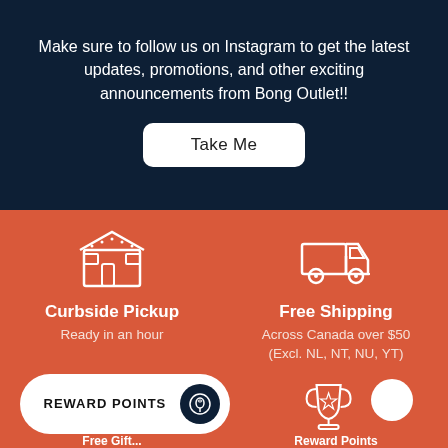Make sure to follow us on Instagram to get the latest updates, promotions, and other exciting announcements from Bong Outlet!!
Take Me
[Figure (illustration): Store/shop icon outline in white]
Curbside Pickup
Ready in an hour
[Figure (illustration): Delivery truck icon outline in white]
Free Shipping
Across Canada over $50 (Excl. NL, NT, NU, YT)
[Figure (illustration): Reward points button with microphone icon]
[Figure (illustration): Trophy/award icon in white and chat bubble icon in white]
Free Gift...
Reward Points